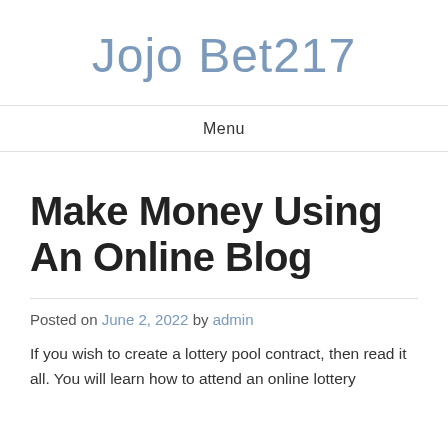Jojo Bet217
Menu
Make Money Using An Online Blog
Posted on June 2, 2022 by admin
If you wish to create a lottery pool contract, then read it all. You will learn how to attend an online lottery